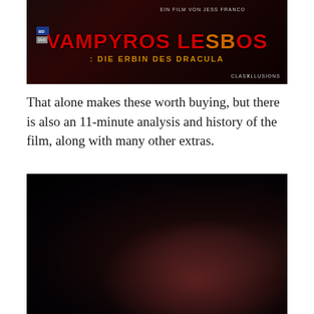[Figure (photo): DVD/Blu-ray cover for 'Vampyros Lesbos - Die Erbin des Dracula', a film by Jess Franco. Dark red background with stylized horror title text in red and orange, Blu-ray and DVD logos on the left, ClassX Illusions logo on the right.]
That alone makes these worth buying, but there is also an 11-minute analysis and history of the film, along with many other extras.
[Figure (photo): Dark atmospheric film still showing a woman with long dark hair in black lace clothing posed against a very dark background.]